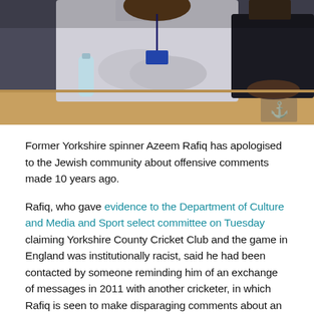[Figure (photo): A man with arms crossed sitting at what appears to be a parliamentary select committee hearing. He is wearing a light blue/grey shirt with a lanyard. Another person is visible in the background on the right. A glass bottle is on the table to the left. A parliamentary portcullis emblem is visible in the bottom right corner of the image.]
Former Yorkshire spinner Azeem Rafiq has apologised to the Jewish community about offensive comments made 10 years ago.
Rafiq, who gave evidence to the Department of Culture and Media and Sport select committee on Tuesday claiming Yorkshire County Cricket Club and the game in England was institutionally racist, said he had been contacted by someone reminding him of an exchange of messages in 2011 with another cricketer, in which Rafiq is seen to make disparaging comments about an unnamed person.
He deleted the messages on Thursday and said he is ashamed of the exchange.